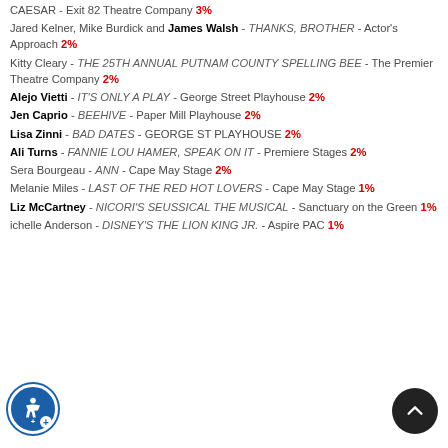CAESAR - Exit 82 Theatre Company 3%
Jared Kelner, Mike Burdick and James Walsh - THANKS, BROTHER - Actor's Approach 2%
Kitty Cleary - THE 25TH ANNUAL PUTNAM COUNTY SPELLING BEE - The Premier Theatre Company 2%
Alejo Vietti - IT'S ONLY A PLAY - George Street Playhouse 2%
Jen Caprio - BEEHIVE - Paper Mill Playhouse 2%
Lisa Zinni - BAD DATES - GEORGE ST PLAYHOUSE 2%
Ali Turns - FANNIE LOU HAMER, SPEAK ON IT - Premiere Stages 2%
Sera Bourgeau - ANN - Cape May Stage 2%
Melanie Miles - LAST OF THE RED HOT LOVERS - Cape May Stage 1%
Liz McCartney - NICORI'S SEUSSICAL THE MUSICAL - Sanctuary on the Green 1%
Michelle Anderson - DISNEY'S THE LION KING JR. - Aspire PAC 1%